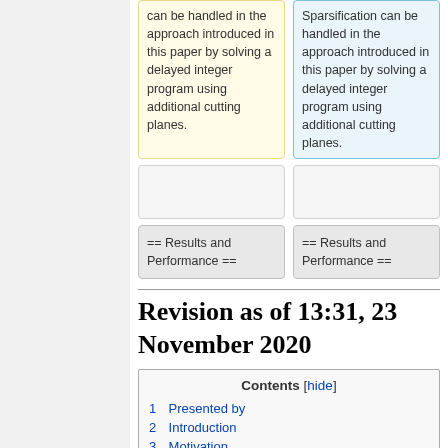can be handled in the approach introduced in this paper by solving a delayed integer program using additional cutting planes.
Sparsification can be handled in the approach introduced in this paper by solving a delayed integer program using additional cutting planes.
== Results and Performance ==
== Results and Performance ==
Revision as of 13:31, 23 November 2020
Contents [hide]
1 Presented by
2 Introduction
3 Motivation